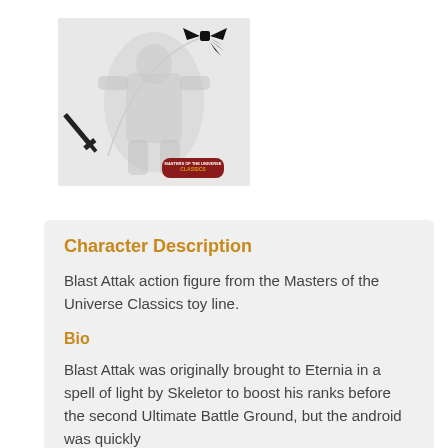[Figure (photo): Product image of Blast Attak action figure from Masters of the Universe Classics. Shows a faded/watermarked figure image with a sword accessory and flying bat-like weapon, plus the Masters of the Universe Classics logo in red at the bottom right of the image.]
Character Description
Blast Attak action figure from the Masters of the Universe Classics toy line.
Bio
Blast Attak was originally brought to Eternia in a spell of light by Skeletor to boost his ranks before the second Ultimate Battle Ground, but the android was quickly